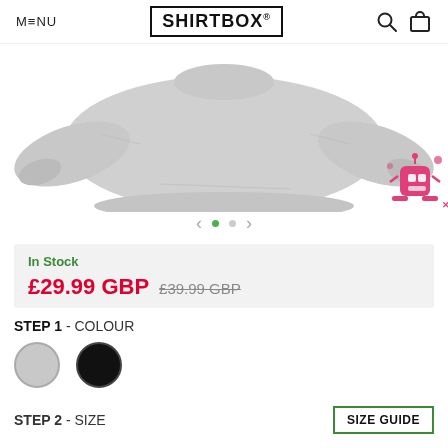MENU | SHIRTBOX® | [search icon] [cart icon]
[Figure (photo): Grey sweatshirt/jumper shown from front, with pink robot mascot badge overlaid on bottom-right. Carousel navigation arrows and dots below the image.]
In Stock
£29.99 GBP  £39.99 GBP (strikethrough)
STEP 1 - COLOUR
STEP 2 - SIZE
SIZE GUIDE